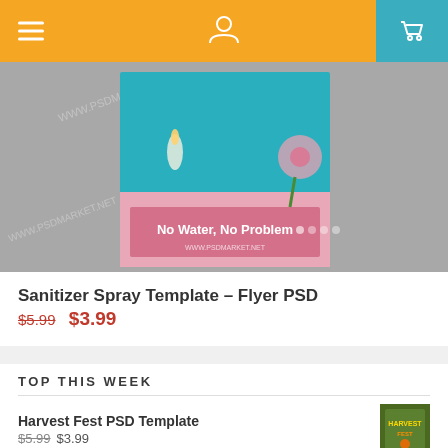Navigation bar with hamburger menu, user icon, and cart icon
[Figure (photo): Product photo of a sanitizer spray bottle with pink and teal packaging, text 'No Water, No Problem' visible, watermarked with www.psdmarket.net]
Sanitizer Spray Template – Flyer PSD
$5.99 $3.99
TOP THIS WEEK
Harvest Fest PSD Template
$5.99 $3.99
Harvest Festival PSD Template